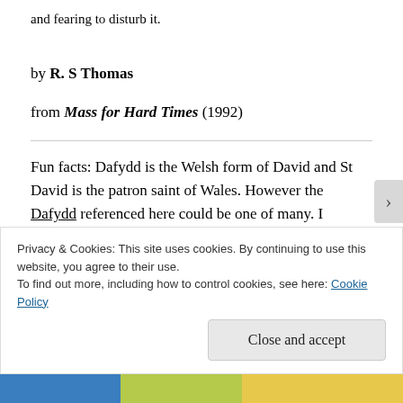and fearing to disturb it.
by R. S Thomas
from Mass for Hard Times (1992)
Fun facts: Dafydd is the Welsh form of David and St David is the patron saint of Wales. However the Dafydd referenced here could be one of many. I assume it's Dafydd ab Owain Gwynedd (c. 1145
Privacy & Cookies: This site uses cookies. By continuing to use this website, you agree to their use.
To find out more, including how to control cookies, see here: Cookie Policy